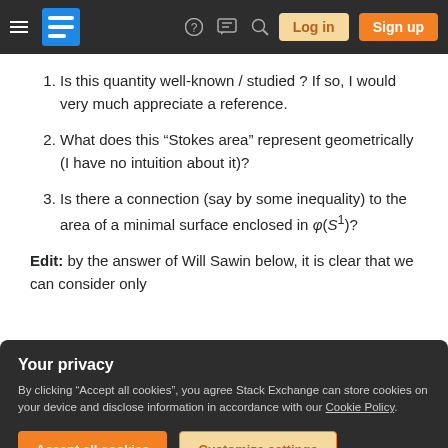Stack Exchange navigation bar with hamburger menu, logo, help, chat, search, log in, sign up
Is this quantity well-known / studied ? If so, I would very much appreciate a reference.
What does this "Stokes area" represent geometrically (I have no intuition about it)?
Is there a connection (say by some inequality) to the area of a minimal surface enclosed in φ(S¹)?
Edit: by the answer of Will Sawin below, it is clear that we can consider only
Your privacy
By clicking "Accept all cookies", you agree Stack Exchange can store cookies on your device and disclose information in accordance with our Cookie Policy.
question remains is there is a connection to the